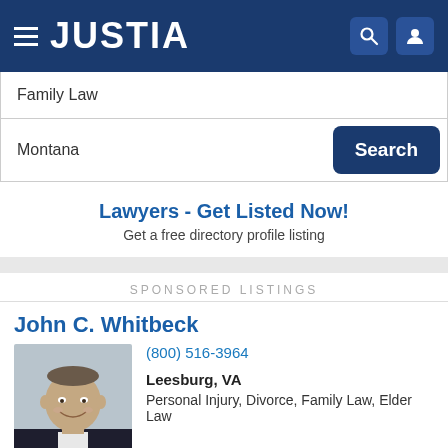JUSTIA
Family Law
Montana
Search
Lawyers - Get Listed Now!
Get a free directory profile listing
SPONSORED LISTINGS
John C. Whitbeck
(800) 516-3964
Leesburg, VA
Personal Injury, Divorce, Family Law, Elder Law